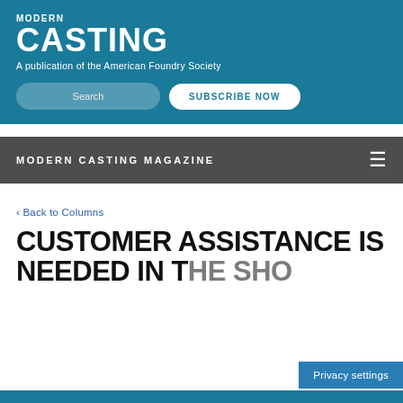MODERN CASTING - A publication of the American Foundry Society
[Figure (screenshot): Modern Casting magazine website header with teal background, logo, tagline, search box, and Subscribe Now button]
MODERN CASTING MAGAZINE
‹ Back to Columns
CUSTOMER ASSISTANCE IS NEEDED IN THE SHO...
Privacy settings